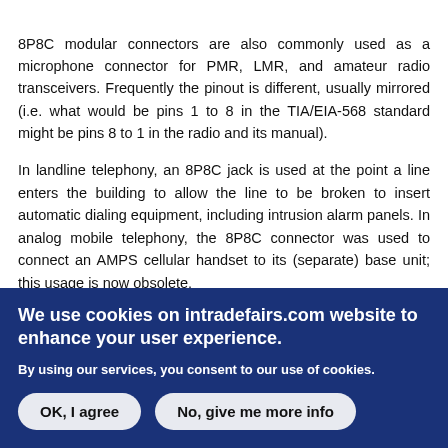8P8C modular connectors are also commonly used as a microphone connector for PMR, LMR, and amateur radio transceivers. Frequently the pinout is different, usually mirrored (i.e. what would be pins 1 to 8 in the TIA/EIA-568 standard might be pins 8 to 1 in the radio and its manual).
In landline telephony, an 8P8C jack is used at the point a line enters the building to allow the line to be broken to insert automatic dialing equipment, including intrusion alarm panels. In analog mobile telephony, the 8P8C connector was used to connect an AMPS cellular handset to its (separate) base unit; this usage is now obsolete.
Commonly (and incorrectly) referred to as "RJ45", the physical
We use cookies on intradefairs.com website to enhance your user experience.
By using our services, you consent to our use of cookies.